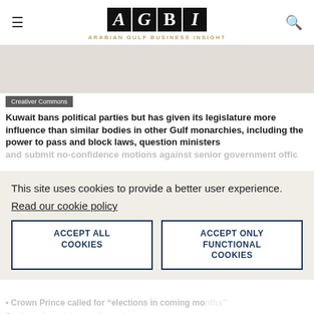AGBI - ARABIAN GULF BUSINESS INSIGHT
Creativer Commons
Kuwait bans political parties but has given its legislature more influence than similar bodies in other Gulf monarchies, including the power to pass and block laws, question ministers and submit no-confidence motions against senior government officials.
This site uses cookies to provide a better user experience.
Read our cookie policy
ACCEPT ALL COOKIES
ACCEPT ONLY FUNCTIONAL COOKIES
Crown Prince called for "elections in coming months"
Senior... that the parliament